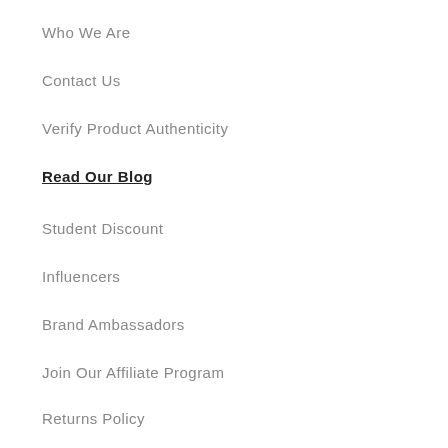Who We Are
Contact Us
Verify Product Authenticity
Read Our Blog
Student Discount
Influencers
Brand Ambassadors
Join Our Affiliate Program
Returns Policy
Privacy Policy